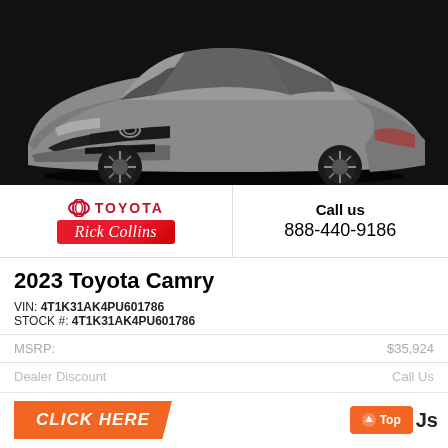[Figure (photo): 2023 Toyota Camry gray sedan photographed against black background, three-quarter front view showing sporty design with black wheels and Toyota hybrid badge]
[Figure (logo): Toyota dealership logo: Toyota circular ring logo with TOYOTA text in red and Rick Collins dealership name on red banner below]
Call us
888-440-9186
2023 Toyota Camry
VIN: 4T1K31AK4PU601786
STOCK #: 4T1K31AK4PU601786
MSRP:	$35,924
Dealer Discount	Call Us
CLICK HERE
Top
Js